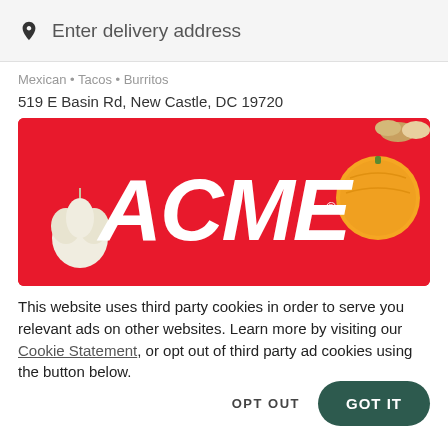Enter delivery address
Mexican • Tacos • Burritos
519 E Basin Rd, New Castle, DC 19720
[Figure (logo): ACME logo on red background with food items (garlic, orange, eggs) around it]
This website uses third party cookies in order to serve you relevant ads on other websites. Learn more by visiting our Cookie Statement, or opt out of third party ad cookies using the button below.
OPT OUT
GOT IT